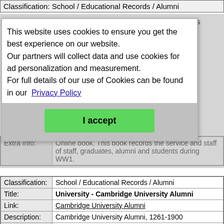| Field | Value |
| --- | --- |
| Classification: | School / Educational Records / Alumni |
graduates
univroll
1900
ates and
th dates
eer of th
ll of
ng1921
914-1919
| Field | Value |
| --- | --- |
| Extra Info: | Online book. This book records the service and staff of staff, graduates, alumni and students during WW1. |
| Field | Value |
| --- | --- |
| Classification: | School / Educational Records / Alumni |
| Title: | University - Cambridge University Alumni |
| Link: | Cambridge University Alumni |
| Description: | Cambridge University Alumni, 1261-1900 |
| Extra Info: | Information may contain birth place, parent's name, other schooling |
[Figure (screenshot): Cookie consent modal dialog with text: 'This website uses cookies to ensure you get the best experience on our website. Our partners will collect data and use cookies for ad personalization and measurement. For full details of our use of Cookies can be found in our Privacy Policy' and a green 'I accept' button.]